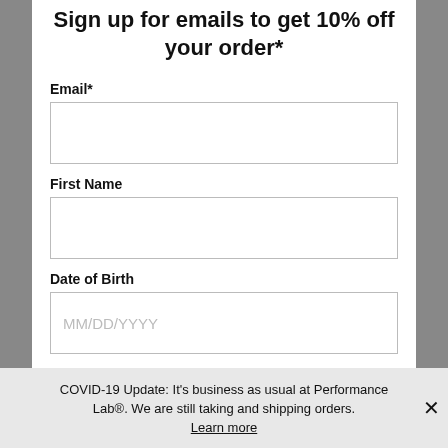Sign up for emails to get 10% off your order*
Email*
First Name
Date of Birth
MM/DD/YYYY
Subscribe
COVID-19 Update: It's business as usual at Performance Lab®. We are still taking and shipping orders. Learn more